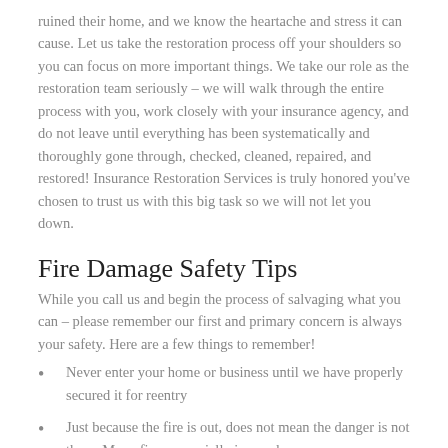ruined their home, and we know the heartache and stress it can cause. Let us take the restoration process off your shoulders so you can focus on more important things. We take our role as the restoration team seriously – we will walk through the entire process with you, work closely with your insurance agency, and do not leave until everything has been systematically and thoroughly gone through, checked, cleaned, repaired, and restored! Insurance Restoration Services is truly honored you've chosen to trust us with this big task so we will not let you down.
Fire Damage Safety Tips
While you call us and begin the process of salvaging what you can – please remember our first and primary concern is always your safety. Here are a few things to remember!
Never enter your home or business until we have properly secured it for reentry
Just because the fire is out, does not mean the danger is not there. Many fires, especially in our dry